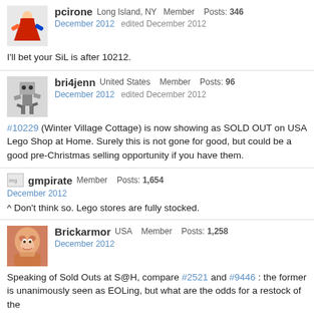pcirone  Long Island, NY  Member  Posts: 346
December 2012  edited December 2012
I'll bet your SiL is after 10212.
bri4jenn  United States  Member  Posts: 96
December 2012  edited December 2012
#10229 (Winter Village Cottage) is now showing as SOLD OUT on USA Lego Shop at Home. Surely this is not gone for good, but could be a good pre-Christmas selling opportunity if you have them.
gmpirate  Member  Posts: 1,654
December 2012
^ Don't think so. Lego stores are fully stocked.
Brickarmor  USA  Member  Posts: 1,258
December 2012
Speaking of Sold Outs at S@H, compare #2521 and #9446 : the former is unanimously seen as EOLing, but what are the odds for a restock of the